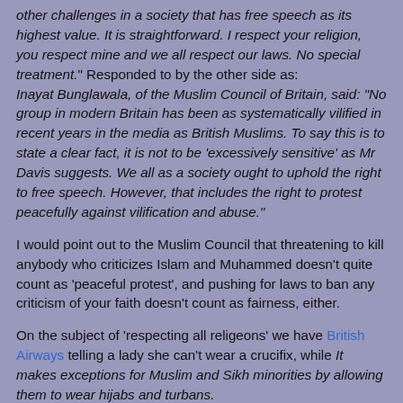other challenges in a society that has free speech as its highest value. It is straightforward. I respect your religion, you respect mine and we all respect our laws. No special treatment." Responded to by the other side as: Inayat Bunglawala, of the Muslim Council of Britain, said: "No group in modern Britain has been as systematically vilified in recent years in the media as British Muslims. To say this is to state a clear fact, it is not to be 'excessively sensitive' as Mr Davis suggests. We all as a society ought to uphold the right to free speech. However, that includes the right to protest peacefully against vilification and abuse."
I would point out to the Muslim Council that threatening to kill anybody who criticizes Islam and Muhammed doesn't quite count as 'peaceful protest', and pushing for laws to ban any criticism of your faith doesn't count as fairness, either.
On the subject of 'respecting all religeons' we have British Airways telling a lady she can't wear a crucifix, while It makes exceptions for Muslim and Sikh minorities by allowing them to wear hijabs and turbans.